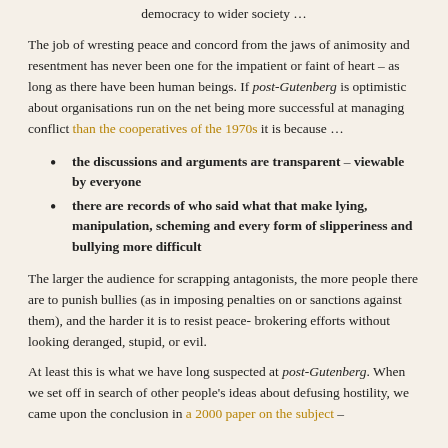democracy to wider society …
The job of wresting peace and concord from the jaws of animosity and resentment has never been one for the impatient or faint of heart – as long as there have been human beings. If post-Gutenberg is optimistic about organisations run on the net being more successful at managing conflict than the cooperatives of the 1970s it is because …
the discussions and arguments are transparent – viewable by everyone
there are records of who said what that make lying, manipulation, scheming and every form of slipperiness and bullying more difficult
The larger the audience for scrapping antagonists, the more people there are to punish bullies (as in imposing penalties on or sanctions against them), and the harder it is to resist peace-brokering efforts without looking deranged, stupid, or evil.
At least this is what we have long suspected at post-Gutenberg. When we set off in search of other people's ideas about defusing hostility, we came upon the conclusion in a 2000 paper on the subject –